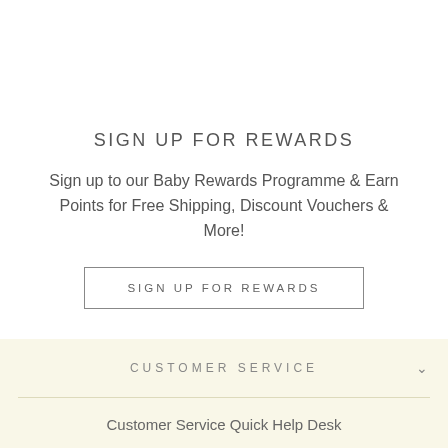SIGN UP FOR REWARDS
Sign up to our Baby Rewards Programme & Earn Points for Free Shipping, Discount Vouchers & More!
SIGN UP FOR REWARDS
CUSTOMER SERVICE
Customer Service Quick Help Desk
Customer Reviews
Search